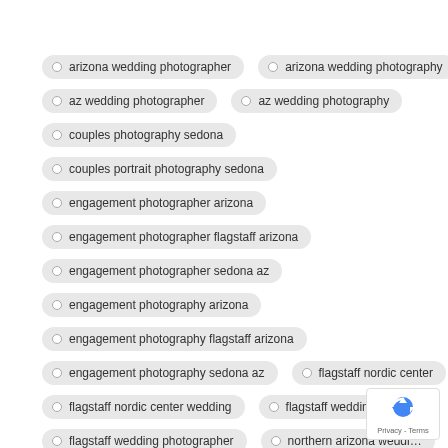arizona wedding photographer
arizona wedding photography
az wedding photographer
az wedding photography
couples photography sedona
couples portrait photography sedona
engagement photographer arizona
engagement photographer flagstaff arizona
engagement photographer sedona az
engagement photography arizona
engagement photography flagstaff arizona
engagement photography sedona az
flagstaff nordic center
flagstaff nordic center wedding
flagstaff wedding
flagstaff wedding photographer
northern arizona weddi...
northern arizona wedding photographer
northern arizona wedding photography